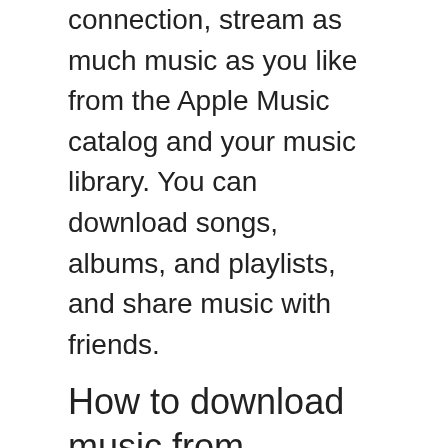connection, stream as much music as you like from the Apple Music catalog and your music library. You can download songs, albums, and playlists, and share music with friends.
How to download music from computer to iPhone without iTunes?
To download music from computer to iPhone without iTunes: Step 1. Connect your iPhone to your computer and run EaseUS MobiMover. Afterward, go to "PC to Phone" > "Select Files". Step 2. Select